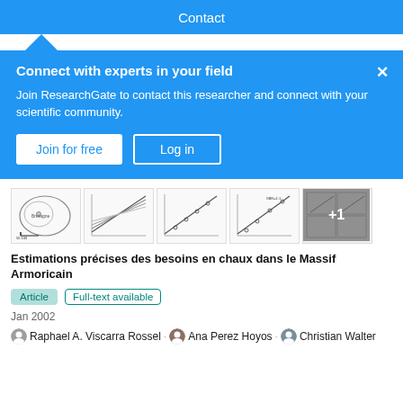Contact
Connect with experts in your field
Join ResearchGate to contact this researcher and connect with your scientific community.
Join for free   Log in
[Figure (screenshot): Thumbnail strip of 5 scientific figures: map of France region, line graphs, scatter plots, and one partially obscured with +1 overlay]
Estimations précises des besoins en chaux dans le Massif Armoricain
Article   Full-text available
Jan 2002
Raphael A. Viscarra Rossel · Ana Perez Hoyos · Christian Walter